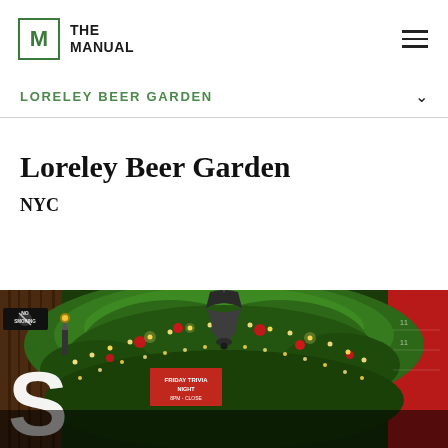THE MANUAL
LORELEY BEER GARDEN
Loreley Beer Garden
NYC
[Figure (photo): Photo of Loreley Beer Garden exterior decorated with Christmas lights, garland, and a large bell, with a red NO SMOKING sign on the left and a red wall on the right.]